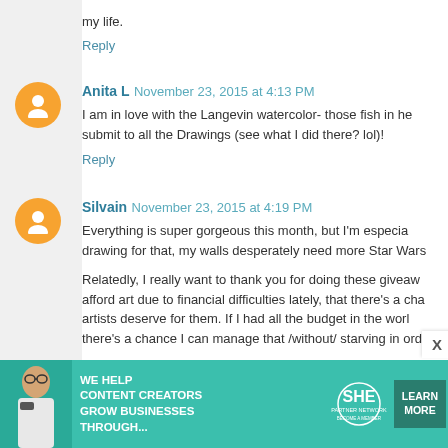my life.
Reply
Anita L  November 23, 2015 at 4:13 PM
I am in love with the Langevin watercolor- those fish in he... submit to all the Drawings (see what I did there? lol)!
Reply
Silvain  November 23, 2015 at 4:19 PM
Everything is super gorgeous this month, but I'm especia... drawing for that, my walls desperately need more Star Wars...
Relatedly, I really want to thank you for doing these giveaw... afford art due to financial difficulties lately, that there's a cha... artists deserve for them. If I had all the budget in the worl... there's a chance I can manage that /without/ starving in ord...
Plus, your round-ups always seem to lead to me following m...
Reply
[Figure (infographic): SHE Partner Network advertisement banner with text 'WE HELP CONTENT CREATORS GROW BUSINESSES THROUGH...' and 'LEARN MORE' button]